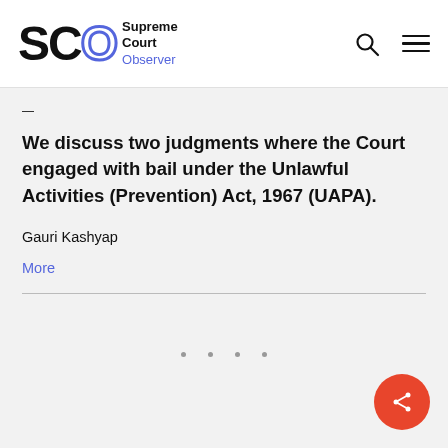[Figure (logo): SCO Supreme Court Observer logo with stylized letters SCO and text 'Supreme Court Observer']
We discuss two judgments where the Court engaged with bail under the Unlawful Activities (Prevention) Act, 1967 (UAPA).
Gauri Kashyap
More